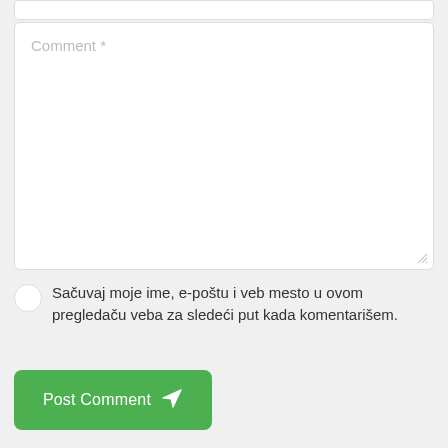[Figure (screenshot): Top portion of a previous input field, partially visible at top of page]
Comment *
Sačuvaj moje ime, e-poštu i veb mesto u ovom pregledaču veba za sledeći put kada komentarišem.
Post Comment